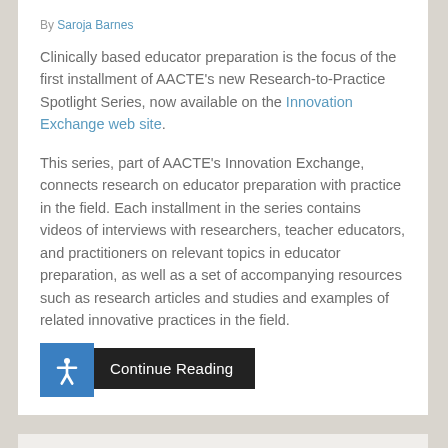By Saroja Barnes
Clinically based educator preparation is the focus of the first installment of AACTE's new Research-to-Practice Spotlight Series, now available on the Innovation Exchange web site.
This series, part of AACTE's Innovation Exchange, connects research on educator preparation with practice in the field. Each installment in the series contains videos of interviews with researchers, teacher educators, and practitioners on relevant topics in educator preparation, as well as a set of accompanying resources such as research articles and studies and examples of related innovative practices in the field.
Continue Reading